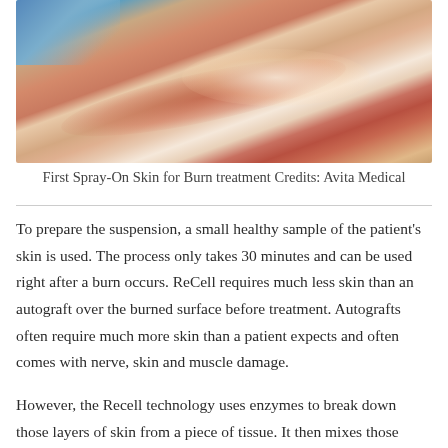[Figure (photo): Close-up photograph of burned skin being treated with spray-on skin technology. Shows reddened burn area on a patient's skin with bright highlight in center. A blue element (likely the ReCell device) visible in top-left corner.]
First Spray-On Skin for Burn treatment Credits: Avita Medical
To prepare the suspension, a small healthy sample of the patient's skin is used. The process only takes 30 minutes and can be used right after a burn occurs. ReCell requires much less skin than an autograft over the burned surface before treatment. Autografts often require much more skin than a patient expects and often comes with nerve, skin and muscle damage.
However, the Recell technology uses enzymes to break down those layers of skin from a piece of tissue. It then mixes those